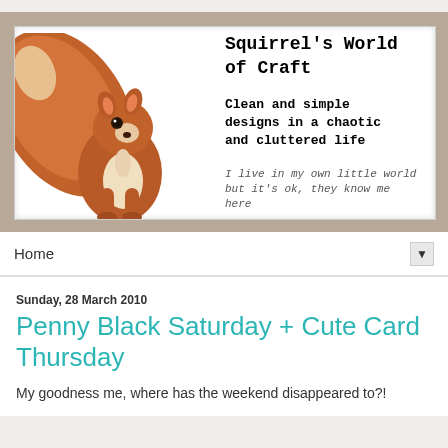[Figure (illustration): Blog header banner with wood-textured brown border frame. Inside is a white card showing a red squirrel on the left and blog title text on the right: 'Squirrel's World of Craft', subtitle 'Clean and simple designs in a chaotic and cluttered life', and tagline 'I live in my own little world but it's ok, they know me here'.]
Home ▼
Sunday, 28 March 2010
Penny Black Saturday + Cute Card Thursday
My goodness me, where has the weekend disappeared to?!